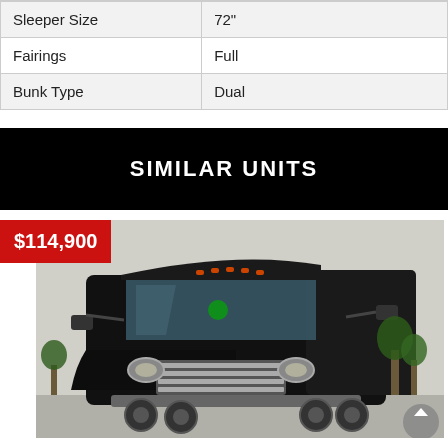| Sleeper Size | 72" |
| Fairings | Full |
| Bunk Type | Dual |
SIMILAR UNITS
$114,900
[Figure (photo): Front view of a black Freightliner Cascadia semi-truck with chrome grille, dual stacks, and large sleeper cab, parked in a lot with trees and a building in the background.]